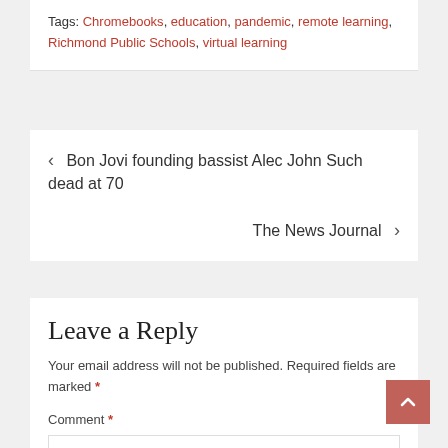Tags: Chromebooks, education, pandemic, remote learning, Richmond Public Schools, virtual learning
< Bon Jovi founding bassist Alec John Such dead at 70
The News Journal >
Leave a Reply
Your email address will not be published. Required fields are marked *
Comment *